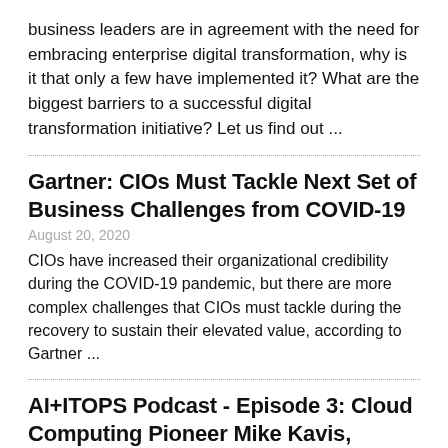business leaders are in agreement with the need for embracing enterprise digital transformation, why is it that only a few have implemented it? What are the biggest barriers to a successful digital transformation initiative? Let us find out ...
Gartner: CIOs Must Tackle Next Set of Business Challenges from COVID-19
August 20, 2020
CIOs have increased their organizational credibility during the COVID-19 pandemic, but there are more complex challenges that CIOs must tackle during the recovery to sustain their elevated value, according to Gartner ...
AI+ITOPS Podcast - Episode 3: Cloud Computing Pioneer Mike Kavis, Managing Director at Deloitte